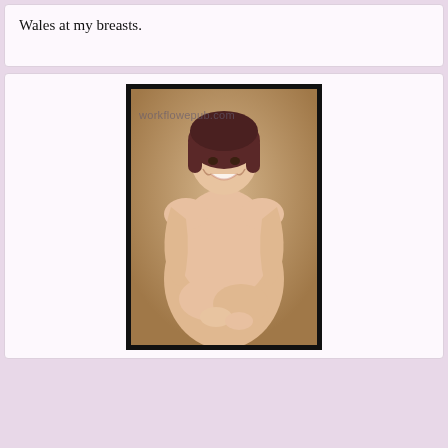Wales at my breasts.
[Figure (photo): A woman with short dark hair laughing, photographed against a warm tan/beige studio background. She is posed seated with knees drawn up. A watermark reads 'workflowepub.com'.]